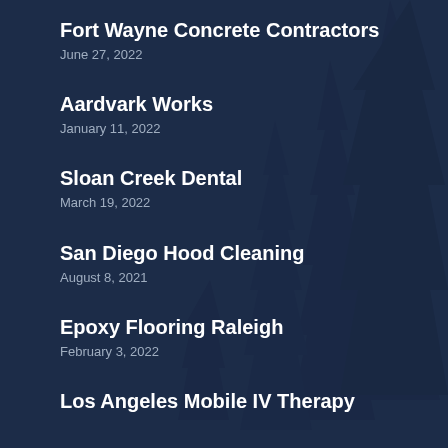Fort Wayne Concrete Contractors
June 27, 2022
Aardvark Works
January 11, 2022
Sloan Creek Dental
March 19, 2022
San Diego Hood Cleaning
August 8, 2021
Epoxy Flooring Raleigh
February 3, 2022
Los Angeles Mobile IV Therapy